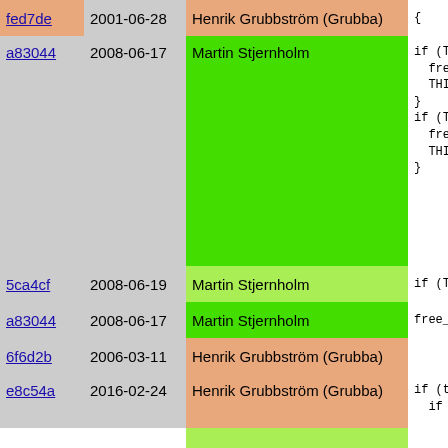| hash | date | author | code |
| --- | --- | --- | --- |
| fed7de | 2001-06-28 | Henrik Grubbström (Grubba) | { |
| a83044 | 2008-06-17 | Martin Stjernholm | if (THIS
  free_a
  THIS->
}
if (THIS
  free_a
  THIS->
} |
| 5ca4cf | 2008-06-19 | Martin Stjernholm | if (THIS |
| a83044 | 2008-06-17 | Martin Stjernholm | free_ |
| 6f6d2b | 2006-03-11 | Henrik Grubbström (Grubba) |  |
| e8c54a | 2016-02-24 | Henrik Grubbström (Grubba) | if (to_a
  if (!t |
| f98274 | 2016-01-26 | Martin Nilsson | SIMP |
| 6f6d2b | 2006-03-11 | Henrik Grubbström (Grubba) | } |
| 017b57 | 2011-10-28 | Henrik Grubbström (Grubba) | if (TY |
| 6f6d2b | 2006-03-11 | Henrik Grubbström (Grubba) | push
stac
f_al |
| e8c54a | 2016-02-24 | Henrik Grubbström (Grubba) | to_a |
| 6f6d2b | 2006-03-11 | Henrik Grubbström (Grubba) | } |